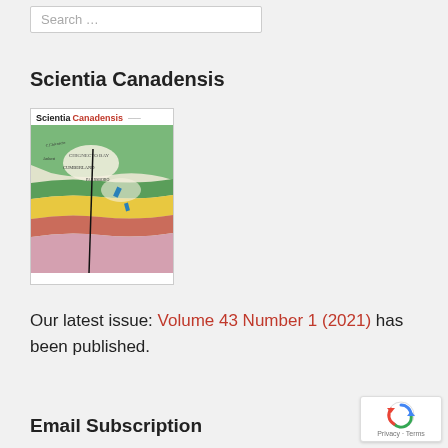Search …
Scientia Canadensis
[Figure (illustration): Journal cover of Scientia Canadensis showing title text and a historical geological/political map of Canada with coloured regions in green, yellow, red, and pink.]
Our latest issue: Volume 43 Number 1 (2021) has been published.
Email Subscription